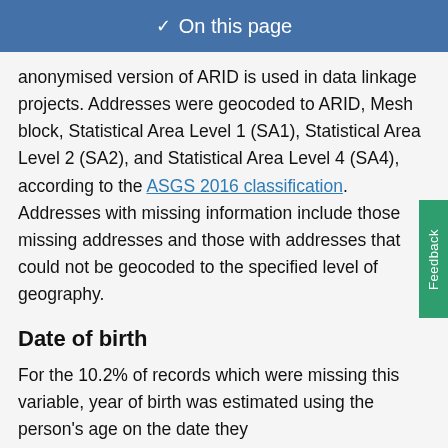On this page
anonymised version of ARID is used in data linkage projects. Addresses were geocoded to ARID, Mesh block, Statistical Area Level 1 (SA1), Statistical Area Level 2 (SA2), and Statistical Area Level 4 (SA4), according to the ASGS 2016 classification. Addresses with missing information include those missing addresses and those with addresses that could not be geocoded to the specified level of geography.
Date of birth
For the 10.2% of records which were missing this variable, year of birth was estimated using the person's age on the date they